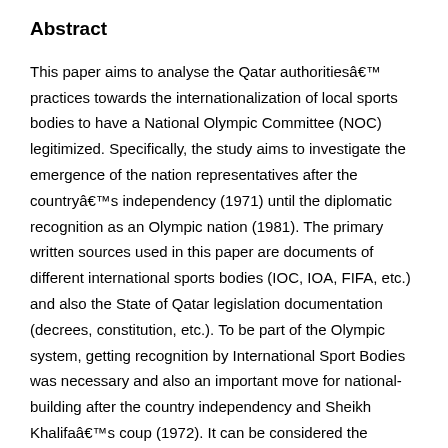Abstract
This paper aims to analyse the Qatar authoritiesâ€™ practices towards the internationalization of local sports bodies to have a National Olympic Committee (NOC) legitimized. Specifically, the study aims to investigate the emergence of the nation representatives after the countryâ€™s independency (1971) until the diplomatic recognition as an Olympic nation (1981). The primary written sources used in this paper are documents of different international sports bodies (IOC, IOA, FIFA, etc.) and also the State of Qatar legislation documentation (decrees, constitution, etc.). To be part of the Olympic system, getting recognition by International Sport Bodies was necessary and also an important move for national-building after the country independency and Sheikh Khalifaâ€™s coup (1972). It can be considered the beginning of an â€˜internationalizationâ€™ process for the Qatari sport people. Not only as national athletes, sport authorities, members and staff of the local federations had a